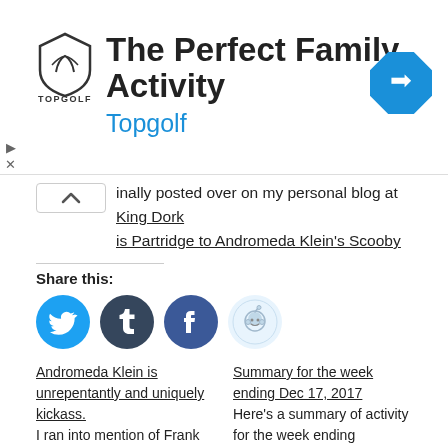[Figure (other): Topgolf advertisement banner with logo shield, 'The Perfect Family Activity' headline, 'Topgolf' subtitle in blue, and a blue diamond direction-arrow icon on the right. Play and X controls on the left.]
inally posted over on my personal blog at King Dork is Partridge to Andromeda Klein's Scooby
Share this:
[Figure (infographic): Four circular social share buttons: Twitter (cyan), Tumblr (dark navy), Facebook (blue), Reddit (light blue/grey)]
Andromeda Klein is unrepentantly and uniquely kickass.
I ran into mention of Frank Portman's Andromeda Klein in one of my various frequent search safaris. Here was
Summary for the week ending Dec 17, 2017
Here's a summary of activity for the week ending December 17th, 2017. I kinda forgot to queue posts, so it's
December 18, 2017